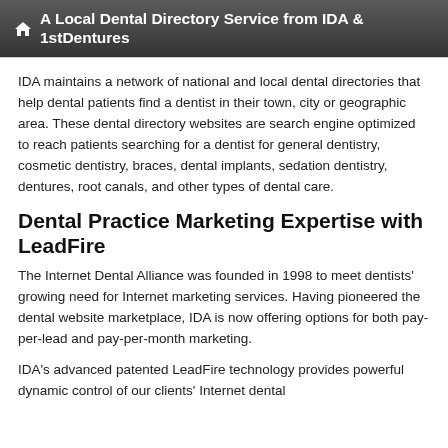A Local Dental Directory Service from IDA & 1stDentures
IDA maintains a network of national and local dental directories that help dental patients find a dentist in their town, city or geographic area. These dental directory websites are search engine optimized to reach patients searching for a dentist for general dentistry, cosmetic dentistry, braces, dental implants, sedation dentistry, dentures, root canals, and other types of dental care.
Dental Practice Marketing Expertise with LeadFire
The Internet Dental Alliance was founded in 1998 to meet dentists' growing need for Internet marketing services. Having pioneered the dental website marketplace, IDA is now offering options for both pay-per-lead and pay-per-month marketing.
IDA's advanced patented LeadFire technology provides powerful dynamic control of our clients' Internet dental